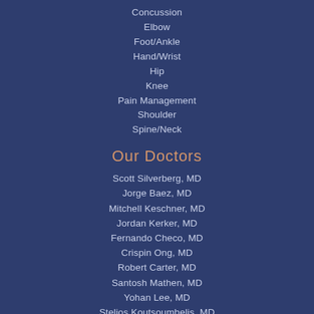Concussion
Elbow
Foot/Ankle
Hand/Wrist
Hip
Knee
Pain Management
Shoulder
Spine/Neck
Our Doctors
Scott Silverberg, MD
Jorge Baez, MD
Mitchell Keschner, MD
Jordan Kerker, MD
Fernando Checo, MD
Crispin Ong, MD
Robert Carter, MD
Santosh Mathen, MD
Yohan Lee, MD
Stelios Koutsoumbelis, MD